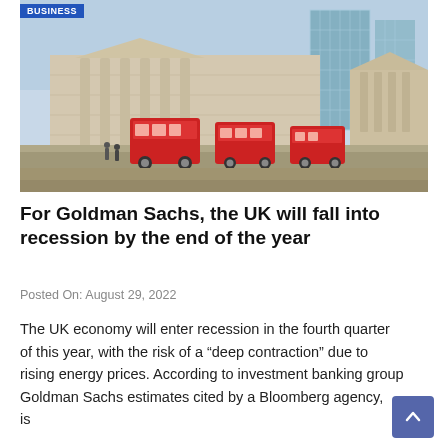[Figure (photo): Street-level photo of the Bank of England building in London with red double-decker buses and modern glass skyscrapers in the background on a sunny day. A 'BUSINESS' label overlay appears in the top-left corner.]
For Goldman Sachs, the UK will fall into recession by the end of the year
Posted On: August 29, 2022
The UK economy will enter recession in the fourth quarter of this year, with the risk of a “deep contraction” due to rising energy prices. According to investment banking group Goldman Sachs estimates cited by a Bloomberg agency, is